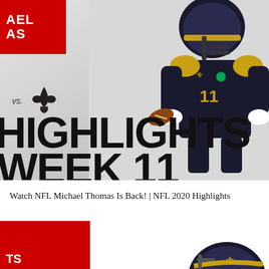[Figure (screenshot): NFL video thumbnail showing Michael Thomas in a New Orleans Saints uniform running with the football, with HIGHLIGHTS and WEEK 11 text overlay, Saints fleur-de-lis logo, and red banner with partially visible text]
Watch NFL Michael Thomas Is Back! | NFL 2020 Highlights
[Figure (photo): Partial view of a Saints player helmet at bottom right, with another red banner at bottom left with partially visible text]